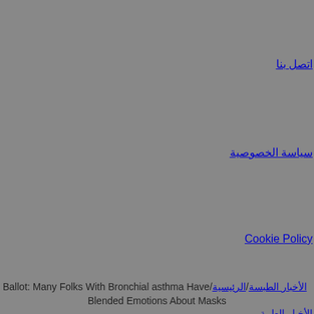اتصل بنا
سياسة الخصوصية
Cookie Policy
Ballot: Many Folks With Bronchial asthma Have/الأخبار الطبسة/الرئيسية
Blended Emotions About Masks
الأخبار الطبية